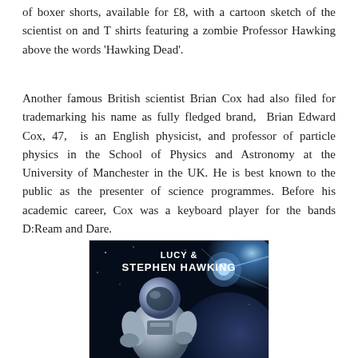of boxer shorts, available for £8, with a cartoon sketch of the scientist on and T shirts featuring a zombie Professor Hawking above the words 'Hawking Dead'.
Another famous British scientist Brian Cox had also filed for trademarking his name as fully fledged brand, Brian Edward Cox, 47, is an English physicist, and professor of particle physics in the School of Physics and Astronomy at the University of Manchester in the UK. He is best known to the public as the presenter of science programmes. Before his academic career, Cox was a keyboard player for the bands D:Ream and Dare.
[Figure (illustration): Book or film cover showing an astronaut in a spacesuit with the text 'LUCY & STEPHEN HAWKING' at the top, set against a dark space background with a bright star/light source.]